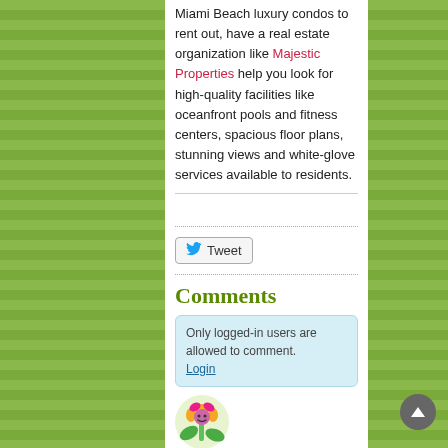Miami Beach luxury condos to rent out, have a real estate organization like Majestic Properties help you look for high-quality facilities like oceanfront pools and fitness centers, spacious floor plans, stunning views and white-glove services available to residents.
[Figure (other): Tweet button with Twitter bird icon]
Comments
Only logged-in users are allowed to comment. Login
[Figure (illustration): Cartoon flower avatar for user Rose]
Rose on 01/08/2014